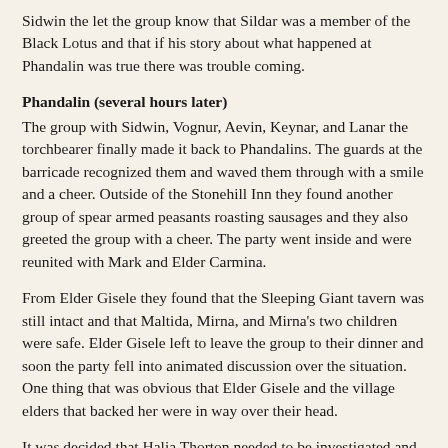Sidwin the let the group know that Sildar was a member of the Black Lotus and that if his story about what happened at Phandalin was true there was trouble coming.
Phandalin (several hours later)
The group with Sidwin, Vognur, Aevin, Keynar, and Lanar the torchbearer finally made it back to Phandalins. The guards at the barricade recognized them and waved them through with a smile and a cheer. Outside of the Stonehill Inn they found another group of spear armed peasants roasting sausages and they also greeted the group with a cheer. The party went inside and were reunited with Mark and Elder Carmina.
From Elder Gisele they found that the Sleeping Giant tavern was still intact and that Maltida, Mirna, and Mirna's two children were safe. Elder Gisele left to leave the group to their dinner and soon the party fell into animated discussion over the situation. One thing that was obvious that Elder Gisele and the village elders that backed her were in way over their head.
It was decided that Halia Thorton needed to be investigated and with Elder Carmina taking the lead they when over to Elder Gisele